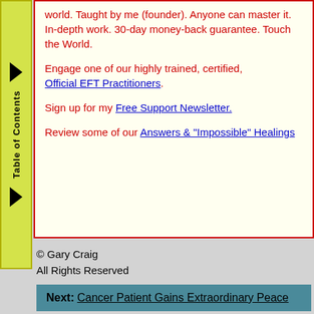world. Taught by me (founder). Anyone can master it. In-depth work. 30-day money-back guarantee. Touch the World.
Engage one of our highly trained, certified, Official EFT Practitioners.
Sign up for my Free Support Newsletter.
Review some of our Answers & "Impossible" Healings
© Gary Craig
All Rights Reserved
Next: Cancer Patient Gains Extraordinary Peace